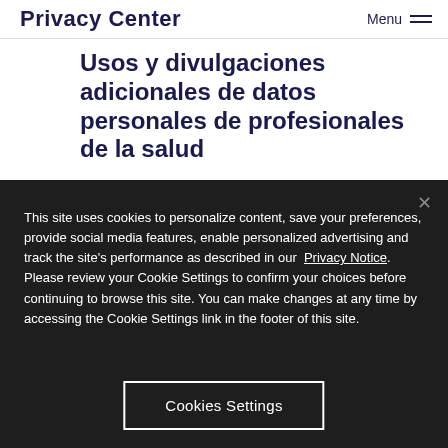Privacy Center   Menu
Usos y divulgaciones adicionales de datos personales de profesionales de la salud
This site uses cookies to personalize content, save your preferences, provide social media features, enable personalized advertising and track the site's performance as described in our Privacy Notice. Please review your Cookie Settings to confirm your choices before continuing to browse this site. You can make changes at any time by accessing the Cookie Settings link in the footer of this site.
Cookies Settings